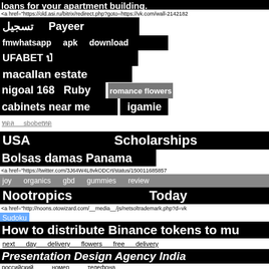loans for your apartment building.
<a href="https://old.asi.ru/bitrix/redirect.php?goto=https://vk.com/wall-2142182
تسجيل   Payeer   botulax   supplier
fmwhatsapp   apk   download   ФЧМ0
UFABET ทดลองเล่น   fm whatsapp 8.35 download
macallan estate   portuguese dating sites in usa
nigoal 168   Ruby   romance flowers   Kohler
cabinets near me   igamie   فك وتركيب مكيفات
ทดลองเล่น   sbobetทดลอง   length   covert
USA   Scholarships
Bolsas damas Panama   tropical holiday
<a href="https://twitter.com/3J64W4L8vkODCrt/status/15001168857
joy   organics   gbd   gummies   review
Nootropics   Today
<a href="http://noons.otowizard.com/__media__/js/netsoltrademark.php?d=vk
Sudoku
How to distribute Binance tokens to mu
next   day   delivery   flowers   free   delivery
Presentation Design Agency India
российский   номер   телефона